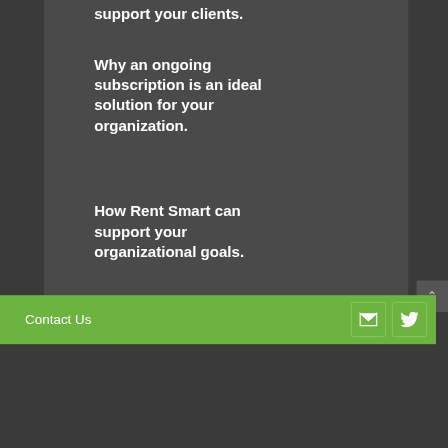support your clients.
Why an ongoing subscription is an ideal solution for your organization.
How Rent Smart can support your organizational goals.
Contact Us